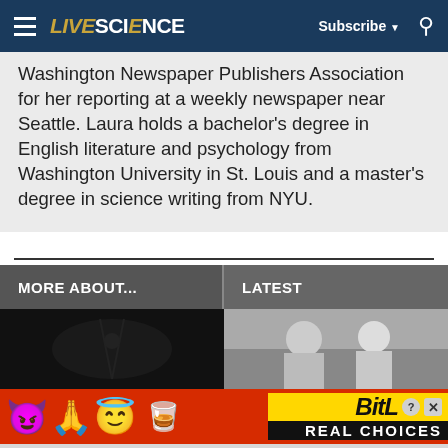LIVESCIENCE — Subscribe ▼ Q
Washington Newspaper Publishers Association for her reporting at a weekly newspaper near Seattle. Laura holds a bachelor's degree in English literature and psychology from Washington University in St. Louis and a master's degree in science writing from NYU.
MORE ABOUT...
LATEST
[Figure (photo): Dark background thumbnail image on left side]
[Figure (photo): Light outdoor thumbnail image on right side showing people]
[Figure (infographic): BitLife ad banner with emoji characters (devil, person shrugging, angel), sperm emoji, BitLife logo, and REAL CHOICES text on red background]